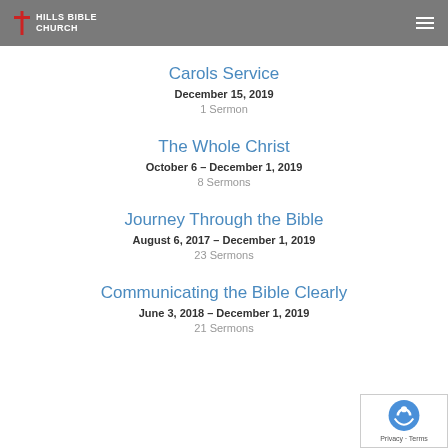Hills Bible Church
Carols Service
December 15, 2019
1 Sermon
The Whole Christ
October 6 – December 1, 2019
8 Sermons
Journey Through the Bible
August 6, 2017 – December 1, 2019
23 Sermons
Communicating the Bible Clearly
June 3, 2018 – December 1, 2019
21 Sermons